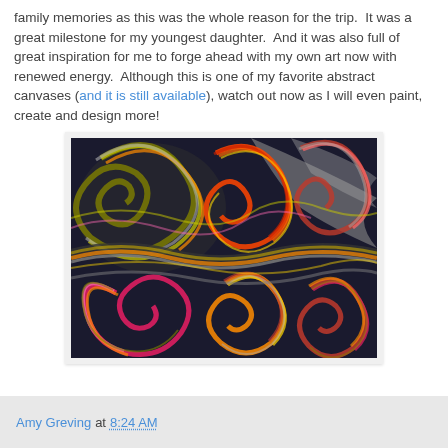family memories as this was the whole reason for the trip.  It was a great milestone for my youngest daughter.  And it was also full of great inspiration for me to forge ahead with my own art now with renewed energy.  Although this is one of my favorite abstract canvases (and it is still available), watch out now as I will even paint, create and design more!
[Figure (illustration): Colorful abstract painting with swirling spiral patterns in orange, red, pink, green, gray, and yellow on a dark background]
Amy Greving at 8:24 AM